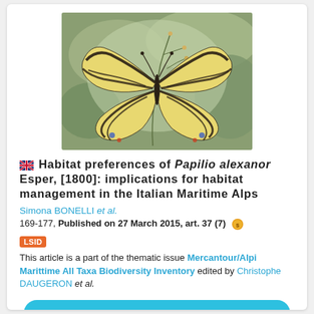[Figure (photo): Close-up photograph of a Papilio alexanor butterfly with yellow and black striped wings, resting on small flowers against a blurred green background.]
Habitat preferences of Papilio alexanor Esper, [1800]: implications for habitat management in the Italian Maritime Alps
Simona BONELLI et al.
169-177, Published on 27 March 2015, art. 37 (7)
LSID
This article is a part of the thematic issue Mercantour/Alpi Marittime All Taxa Biodiversity Inventory edited by Christophe DAUGERON et al.
DOWNLOAD FULL ARTICLE IN PDF FORMAT
SEE ARTICLE